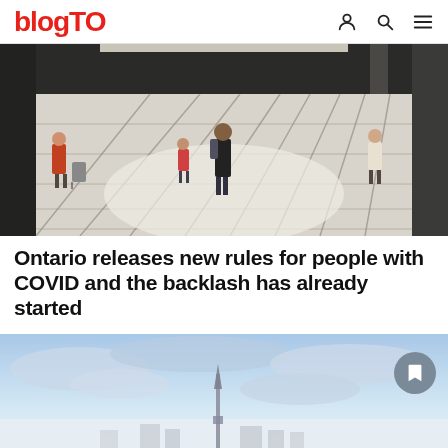blogTO
[Figure (photo): People walking through a large open terminal or transit hall with bright tiled floor and geometric shadow patterns. Figures carry luggage and backpacks.]
Ontario releases new rules for people with COVID and the backlash has already started
[Figure (photo): Aerial or high-angle view of CN Tower and Toronto skyline emerging through a layer of fog or low clouds against a pale blue sky.]